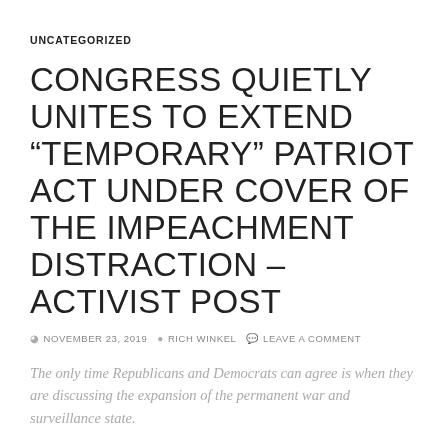UNCATEGORIZED
CONGRESS QUIETLY UNITES TO EXTEND “TEMPORARY” PATRIOT ACT UNDER COVER OF THE IMPEACHMENT DISTRACTION – ACTIVIST POST
NOVEMBER 23, 2019  RICH WINKEL  LEAVE A COMMENT
The only time Republicans and Democrats can agree is when they are discussing the expansion of the permanent war and surveillance state.